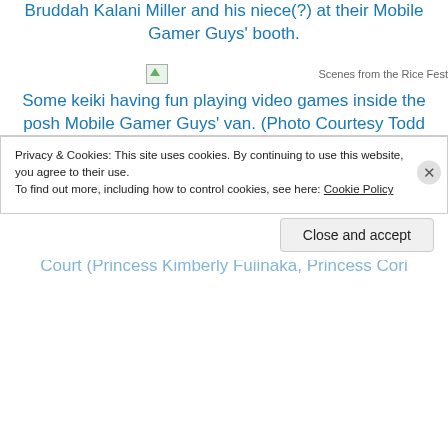[Figure (photo): Broken image placeholder labeled 'Scenes from the Rice Fest']
Bruddah Kalani Miller and his niece(?) at their Mobile Gamer Guys' booth.
[Figure (photo): Broken image placeholder labeled 'Scenes from the Rice Fest']
Some keiki having fun playing video games inside the posh Mobile Gamer Guys' van. (Photo Courtesy Todd Masui)
[Figure (photo): Broken image placeholder labeled 'Scenes from the Rice Fest']
Valen Ahlo posing with the 58th Cherry Blossom Festival Court (Princess Kimberly Fuiinaka, Princess Cori
Privacy & Cookies: This site uses cookies. By continuing to use this website, you agree to their use.
To find out more, including how to control cookies, see here: Cookie Policy
Close and accept